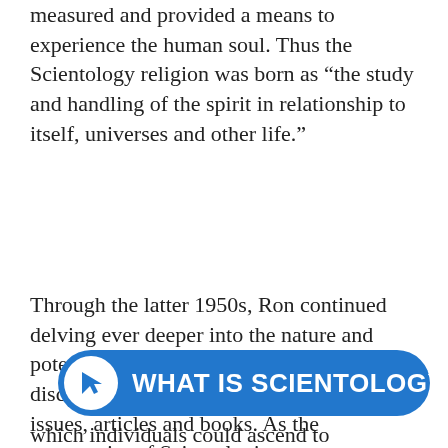measured and provided a means to experience the human soul. Thus the Scientology religion was born as “the study and handling of the spirit in relationship to itself, universes and other life.”
Through the latter 1950s, Ron continued delving ever deeper into the nature and potential of the spirit, while documenting discoveries in recorded lectures, technical issues, articles and books. As the community of Scientologists commensurately swelled, Churches of Scientology opened across the United States, Europe, Australia and South Africa. Accordingly, he both ove... So... an e... which individuals could ascend to
[Figure (other): A blue rounded button/banner with a white circular icon containing a cursor/arrow logo on the left, and bold white text reading 'WHAT IS SCIENTOLOGY?' on the right.]